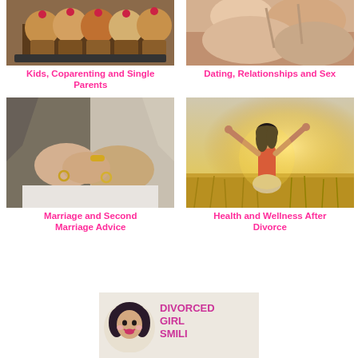[Figure (photo): Cupcakes/muffins on a tray - top-left photo for Kids, Coparenting and Single Parents category]
Kids, Coparenting and Single Parents
[Figure (photo): Woman in bikini / relationships theme - top-right photo for Dating, Relationships and Sex category]
Dating, Relationships and Sex
[Figure (photo): Couple holding hands with wedding rings - Marriage and Second Marriage Advice category]
Marriage and Second Marriage Advice
[Figure (photo): Woman in field with arms raised - Health and Wellness After Divorce category]
Health and Wellness After Divorce
[Figure (logo): Divorced Girl Smiling logo with cartoon woman avatar and text DIVORCED GIRL SMILING]